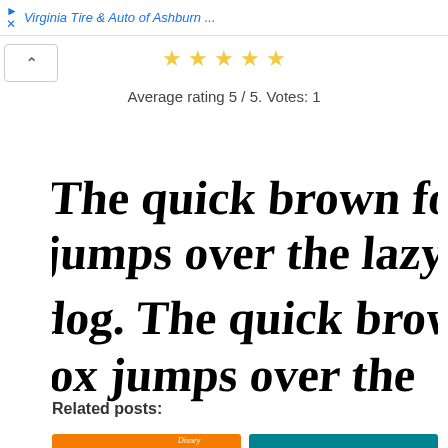Virginia Tire & Auto of Ashburn ...
[Figure (other): Five golden star icons representing a 5/5 rating]
Average rating 5 / 5. Votes: 1
[Figure (other): Handwritten script text reading: The quick brown fox jumps over the lazy dog. The quick brown fox jumps over the lazy dog.]
Related posts:
[Figure (photo): Thumbnail of Zootopia Disney movie poster with orange background]
[Figure (photo): Thumbnail with teal/dark cyan background]